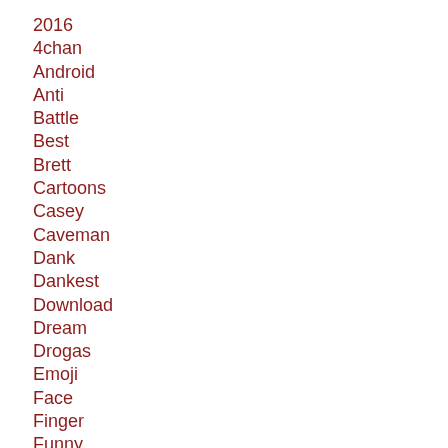2016
4chan
Android
Anti
Battle
Best
Brett
Cartoons
Casey
Caveman
Dank
Dankest
Download
Dream
Drogas
Emoji
Face
Finger
Funny
Game
Get
Good